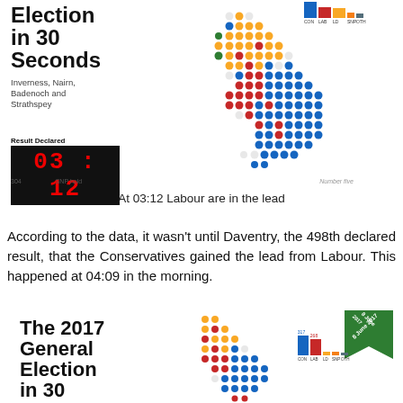[Figure (infographic): Top infographic: 'The General Election in 30 Seconds' with subtitle 'Inverness, Nairn, Badenoch and Strathspey', a digital clock showing 03:12 with 'Result Declared' label, a dot-map of UK constituencies coloured by party (blue=Conservative, red=Labour, yellow=SNP, etc.), and small bar chart legend at top right.]
At 03:12 Labour are in the lead
According to the data, it wasn't until Daventry, the 498th declared result, that the Conservatives gained the lead from Labour. This happened at 04:09 in the morning.
[Figure (infographic): Bottom infographic: 'The 2017 General Election in 30' (cut off) with a dot-map of UK constituencies and a bar chart, with a green '8 June 2017' ribbon badge.]